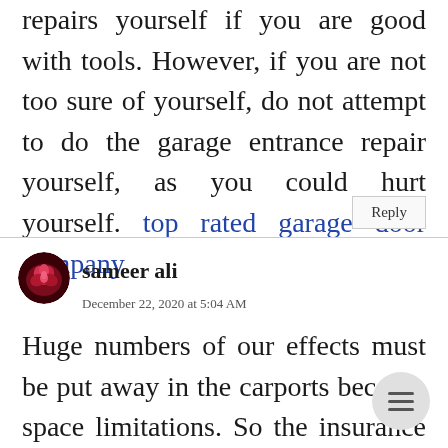repairs yourself if you are good with tools. However, if you are not too sure of yourself, do not attempt to do the garage entrance repair yourself, as you could hurt yourself. top rated garage door company
Reply
[Figure (photo): Round avatar image showing a red rose]
sameer ali
December 22, 2020 at 5:04 AM
Huge numbers of our effects must be put away in the carports because of space limitations. So the insurance of the carport is significant. A id...